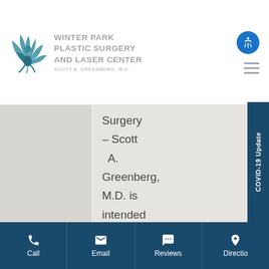[Figure (logo): Winter Park Plastic Surgery and Laser Center logo with stylized bird and text. Scott A. Greenberg M.D.]
Surgery – Scott A. Greenberg, M.D. is intended to provide general information regarding
Call | Email | Reviews | Directions | COVID-19 Update